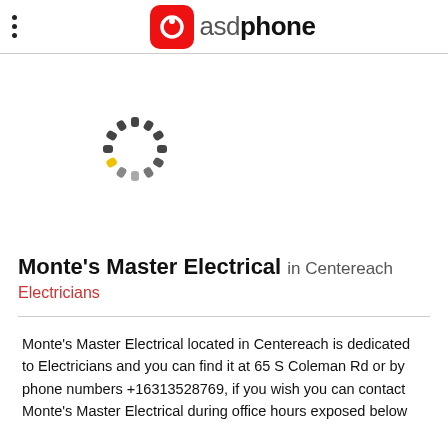asdphone
[Figure (other): Circular loading spinner with dark grey dashes and a yellow segment at the bottom-left]
Monte's Master Electrical in Centereach
Electricians
Monte's Master Electrical located in Centereach is dedicated to Electricians and you can find it at 65 S Coleman Rd or by phone numbers +16313528769, if you wish you can contact Monte's Master Electrical during office hours exposed below